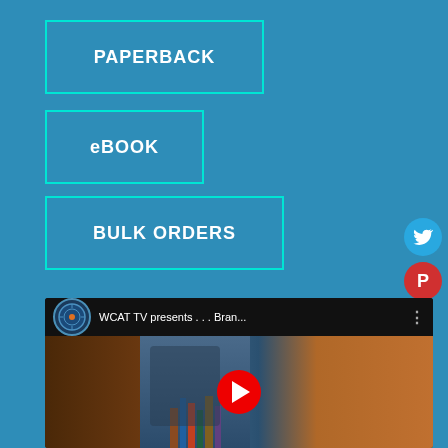PAPERBACK
eBOOK
BULK ORDERS
[Figure (screenshot): Social media share buttons: Facebook (purple circle with f), Twitter (blue circle with bird icon), Pinterest (red circle with P)]
[Figure (screenshot): YouTube video thumbnail showing WCAT TV presents . . . Bran... with play button, microphone image, and book shelf in background]